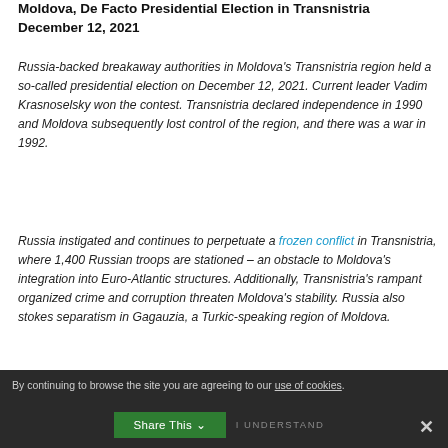Moldova, De Facto Presidential Election in Transnistria
December 12, 2021
Russia-backed breakaway authorities in Moldova's Transnistria region held a so-called presidential election on December 12, 2021. Current leader Vadim Krasnoselsky won the contest. Transnistria declared independence in 1990 and Moldova subsequently lost control of the region, and there was a war in 1992.
Russia instigated and continues to perpetuate a frozen conflict in Transnistria, where 1,400 Russian troops are stationed – an obstacle to Moldova's integration into Euro-Atlantic structures. Additionally, Transnistria's rampant organized crime and corruption threaten Moldova's stability. Russia also stokes separatism in Gagauzia, a Turkic-speaking region of Moldova.
By continuing to browse the site you are agreeing to our use of cookies.